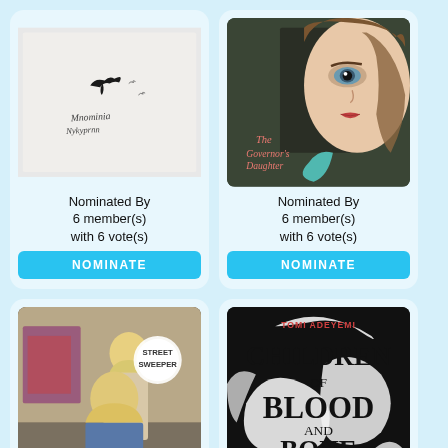[Figure (illustration): Book cover with a bird silhouette flying over handwritten cursive text on a light gray/white background]
Nominated By
6 member(s)
with 6 vote(s)
NOMINATE
[Figure (illustration): Book cover titled 'The Governor's Daughter' featuring a close-up of a young woman's face with striking eyes]
Nominated By
6 member(s)
with 6 vote(s)
NOMINATE
[Figure (illustration): Book cover labeled 'Street Sweeper' showing two young women in an urban setting]
[Figure (illustration): Book cover titled 'Children of Blood and Bone' by Tomi Adeyemi with bold black and white swirling design and red accent]